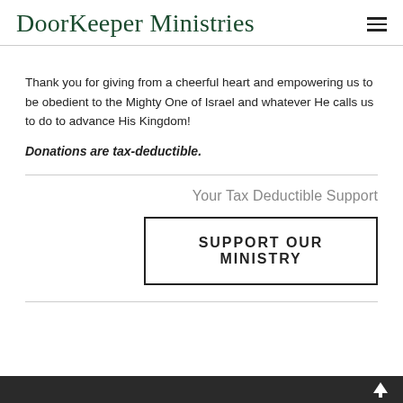DoorKeeper Ministries
Thank you for giving from a cheerful heart and empowering us to be obedient to the Mighty One of Israel and whatever He calls us to do to advance His Kingdom!
Donations are tax-deductible.
Your Tax Deductible Support
SUPPORT OUR MINISTRY